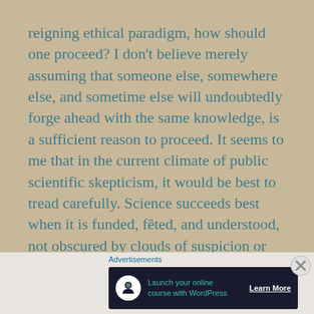reigning ethical paradigm, how should one proceed? I don't believe merely assuming that someone else, somewhere else, and sometime else will undoubtedly forge ahead with the same knowledge, is a sufficient reason to proceed. It seems to me that in the current climate of public scientific skepticism, it would be best to tread carefully. Science succeeds best when it is funded, fêted, and understood, not obscured by clouds of suspicion or plagued by doubt -not to mention mistrust. Just look at how genetically modified foods are regarded in many countries. Or vaccinations. Or climate change…
Advertisements
[Figure (other): Advertisement banner: dark background with tree/person icon, text 'Launch your online course with WordPress', and 'Learn More' button]